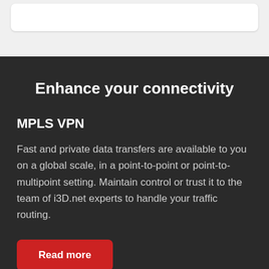Enhance your connectivity
MPLS VPN
Fast and private data transfers are available to you on a global scale, in a point-to-point or point-to-multipoint setting. Maintain control or trust it to the team of i3D.net experts to handle your traffic routing.
Read more